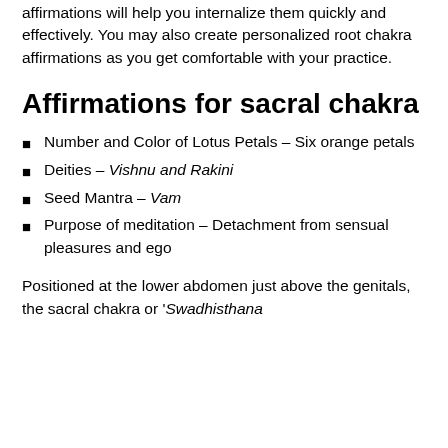affirmations will help you internalize them quickly and effectively. You may also create personalized root chakra affirmations as you get comfortable with your practice.
Affirmations for sacral chakra
Number and Color of Lotus Petals – Six orange petals
Deities – Vishnu and Rakini
Seed Mantra – Vam
Purpose of meditation – Detachment from sensual pleasures and ego
Positioned at the lower abdomen just above the genitals, the sacral chakra or 'Swadhisthana